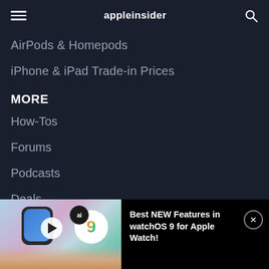appleinsider
AirPods & Homepods
iPhone & iPad Trade-in Prices
MORE
How-Tos
Forums
Podcasts
Deals
Videos
[Figure (screenshot): Video promo banner at bottom showing Apple Watch with watchOS 9, hand holding watch, play button, watchOS 9 circular logo badge, and ai badge]
Best NEW Features in watchOS 9 for Apple Watch!